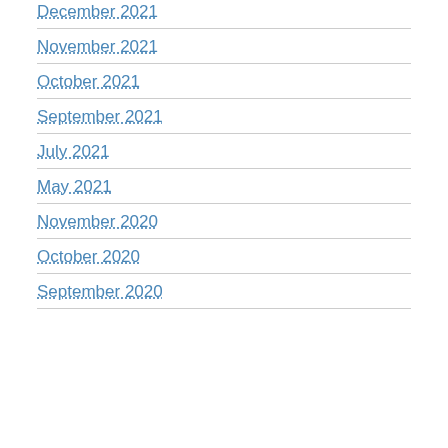December 2021
November 2021
October 2021
September 2021
July 2021
May 2021
November 2020
October 2020
September 2020